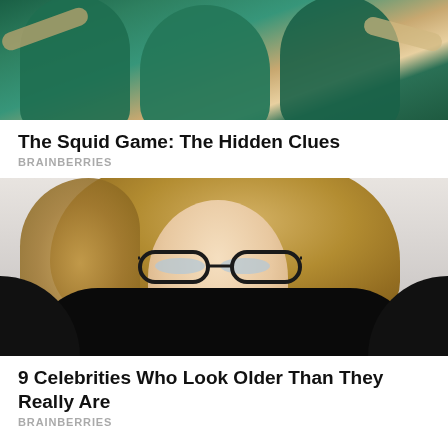[Figure (photo): Photo of people in teal/green suits from Squid Game, partially cropped at top]
The Squid Game: The Hidden Clues
BRAINBERRIES
[Figure (photo): Portrait photo of a young blonde woman wearing round black glasses and a black outfit, on a light gray background]
9 Celebrities Who Look Older Than They Really Are
BRAINBERRIES